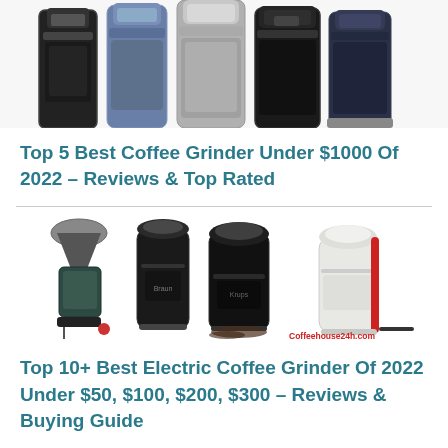[Figure (photo): Row of 5 coffee grinders side by side on white background, partially cropped at top]
Top 5 Best Coffee Grinder Under $1000 Of 2022 – Reviews & Top Rated
[Figure (photo): Four electric coffee grinders shown side by side, including blade and burr grinders, one with red accent, one white/cream colored with coffeehouse24h.com watermark]
Top 10+ Best Electric Coffee Grinder Of 2022 Under $50, $100, $200, $300 – Reviews & Buying Guide